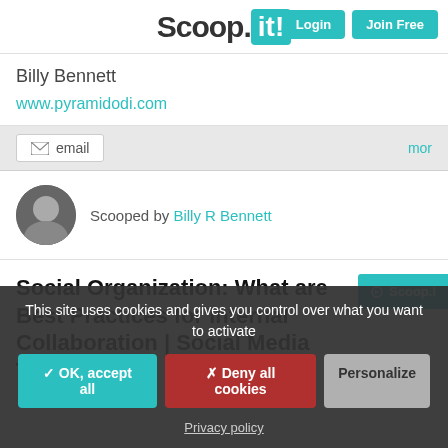Scoop.it! Login Join Free
Billy Bennett
www.pyramidodi.com
email  mor
Scooped by Billy R Bennett
Social Organization: What are Best Practices for Internal Collaboration | Social Media Today
This site uses cookies and gives you control over what you want to activate
✓ OK, accept all  ✗ Deny all cookies  Personalize
Privacy policy